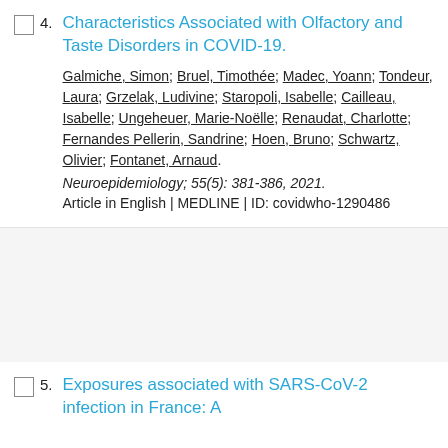4. Characteristics Associated with Olfactory and Taste Disorders in COVID-19.
Galmiche, Simon; Bruel, Timothée; Madec, Yoann; Tondeur, Laura; Grzelak, Ludivine; Staropoli, Isabelle; Cailleau, Isabelle; Ungeheuer, Marie-Noëlle; Renaudat, Charlotte; Fernandes Pellerin, Sandrine; Hoen, Bruno; Schwartz, Olivier; Fontanet, Arnaud.
Neuroepidemiology; 55(5): 381-386, 2021.
Article in English | MEDLINE | ID: covidwho-1290486
5. Exposures associated with SARS-CoV-2 infection in France: A